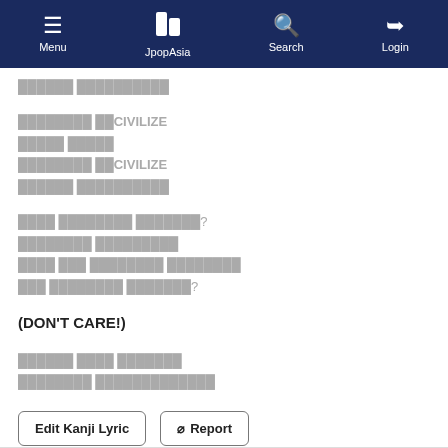Menu  JpopAsia  Search  Login
██████ ██████████
████████ ██CIVILIZE
█████ █████
████████ ██CIVILIZE
██████ ██████████
████ ████████ ███████?
████████ █████████
████ ███ ████████ ████████
███ ████████ ███████?
(DON'T CARE!)
██████ ████ ███████
████████ █████████████
Edit Kanji Lyric   🚫 Report